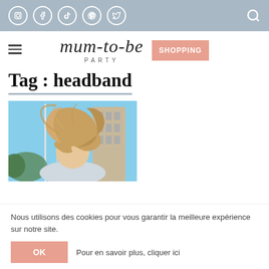Social media icons (Instagram, Facebook, TikTok, Pinterest, Twitter) and search icon on grey bar
[Figure (logo): Mum-to-be Party logo with script font and SHOPPING button in salmon/pink]
Tag : headband
[Figure (photo): Photo of a woman with flowing blonde hair against blue sky and building, viewed from behind]
Nous utilisons des cookies pour vous garantir la meilleure expérience sur notre site.
OK   Pour en savoir plus, cliquer ici